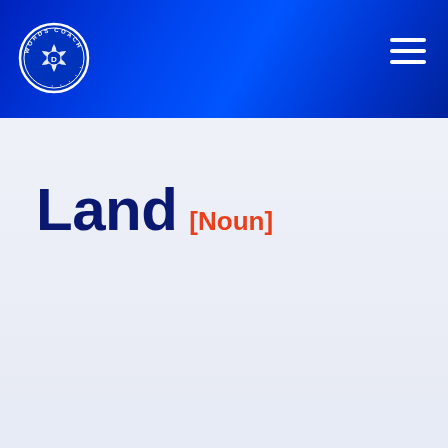[Figure (logo): Words Coach circular logo with camera aperture icon and letter D in center, white border on blue background]
Land [Noun]